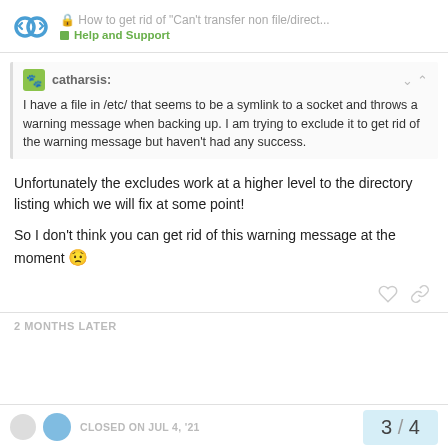How to get rid of "Can't transfer non file/direct..." | Help and Support
catharsis: I have a file in /etc/ that seems to be a symlink to a socket and throws a warning message when backing up. I am trying to exclude it to get rid of the warning message but haven't had any success.
Unfortunately the excludes work at a higher level to the directory listing which we will fix at some point!
So I don't think you can get rid of this warning message at the moment 😟
2 MONTHS LATER
CLOSED ON JUL 4, '21
3 / 4